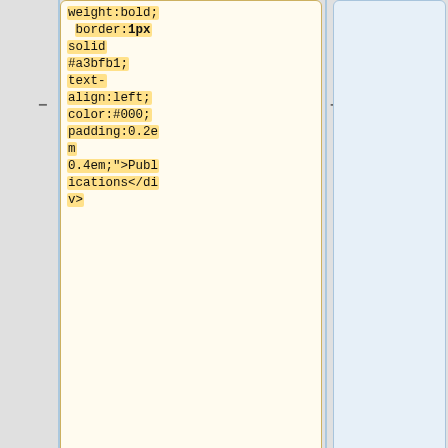weight:bold; border:1px solid #a3bfb1; text-align:left; color:#000; padding:0.2em 0.4em;">Publications</div>
|-
{| style="border-style: solid; border-width: 4px"
|style="color:#000;"|
| ora || nge